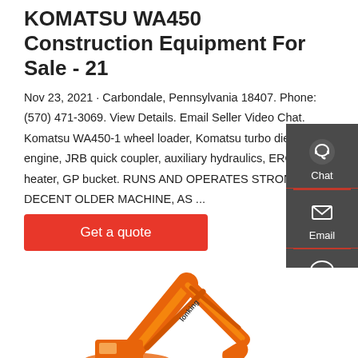KOMATSU WA450 Construction Equipment For Sale - 21
Nov 23, 2021 · Carbondale, Pennsylvania 18407. Phone: (570) 471-3069. View Details. Email Seller Video Chat. Komatsu WA450-1 wheel loader, Komatsu turbo diesel engine, JRB quick coupler, auxiliary hydraulics, EROPS w/ heater, GP bucket. RUNS AND OPERATES STRONG, DECENT OLDER MACHINE, AS ...
Get a quote
[Figure (infographic): Dark grey sidebar with three icons: Chat (headset icon), Email (envelope icon), Contact (speech bubble with dots icon), separated by red lines.]
[Figure (photo): Orange construction excavator (Lonking brand) arm and bucket visible against white background, lower portion of the page.]